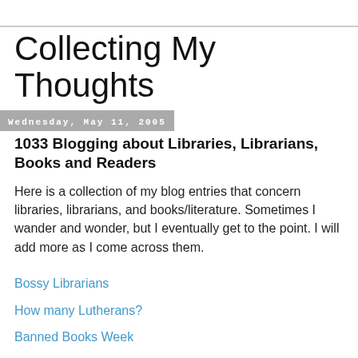Collecting My Thoughts
Wednesday, May 11, 2005
1033 Blogging about Libraries, Librarians, Books and Readers
Here is a collection of my blog entries that concern libraries, librarians, and books/literature. Sometimes I wander and wonder, but I eventually get to the point. I will add more as I come across them.
Bossy Librarians
How many Lutherans?
Banned Books Week
Anti-Bush books at UAPL